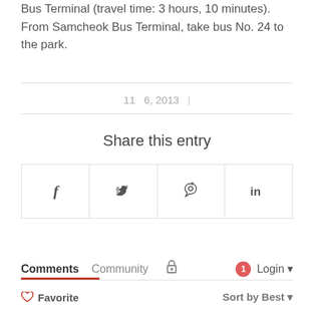Bus Terminal (travel time: 3 hours, 10 minutes). From Samcheok Bus Terminal, take bus No. 24 to the park.
11  6, 2013
Share this entry
[Figure (other): Four social media share buttons: Facebook, Twitter, Pinterest, LinkedIn]
Comments  Community  [lock icon]  [1] Login
♡ Favorite   Sort by Best ▾